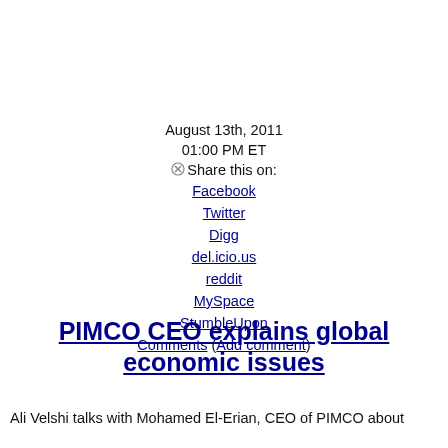August 13th, 2011
01:00 PM ET
⊗Share this on:
Facebook
Twitter
Digg
del.icio.us
reddit
MySpace
StumbleUpon
Comments (Add comment)
PIMCO CEO explains global economic issues
Ali Velshi talks with Mohamed El-Erian, CEO of PIMCO about